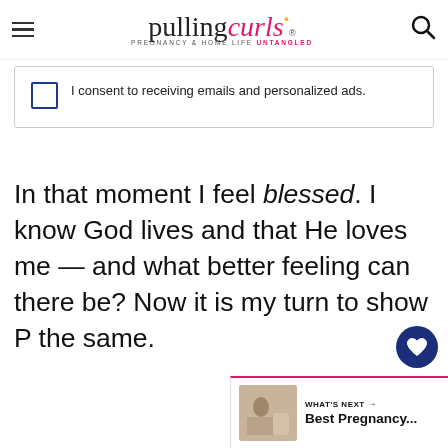pulling curls — PREGNANCY & HOME LIFE UNTANGLED
I consent to receiving emails and personalized ads.
In that moment I feel blessed. I know God lives and that He loves me — and what better feeling can there be? Now it is my turn to show P the same.
[Figure (infographic): What's Next panel with thumbnail image for Best Pregnancy...]